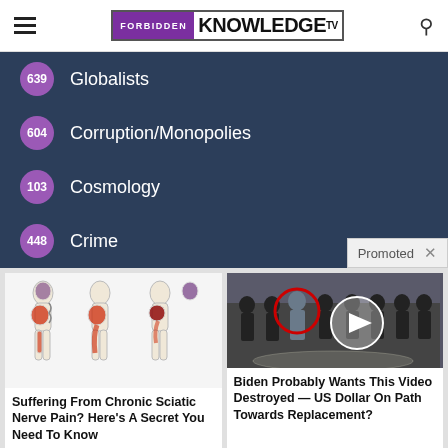FORBIDDEN KNOWLEDGE TV
639 Globalists
604 Corruption/Monopolies
103 Cosmology
448 Crime
Promoted
[Figure (illustration): Medical diagram showing human figures with sciatica nerve pain highlighted in red along the leg and buttock]
Suffering From Chronic Sciatic Nerve Pain? Here's A Secret You Need To Know
Find Out More
[Figure (photo): Group of men in suits standing in a formal setting, one circled in red, with a play button overlay]
Biden Probably Wants This Video Destroyed — US Dollar On Path Towards Replacement?
Watch The Video